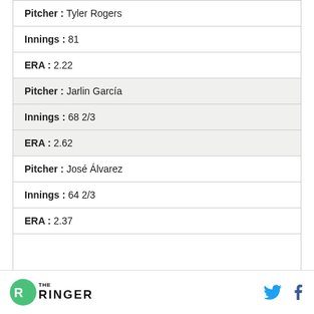| Pitcher : Tyler Rogers |  |  |
| Innings : 81 |  |  |
| ERA : 2.22 |  |  |
| Pitcher : Jarlin García |  |  |
| Innings : 68 2/3 |  |  |
| ERA : 2.62 |  |  |
| Pitcher : José Álvarez |  |  |
| Innings : 64 2/3 |  |  |
| ERA : 2.37 |  |  |
The Ringer